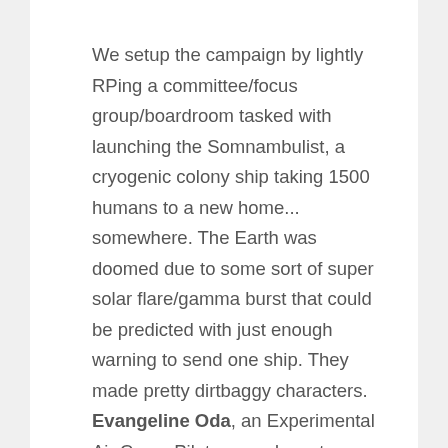We setup the campaign by lightly RPing a committee/focus group/boardroom tasked with launching the Somnambulist, a cryogenic colony ship taking 1500 humans to a new home... somewhere. The Earth was doomed due to some sort of super solar flare/gamma burst that could be predicted with just enough warning to send one ship. They made pretty dirtbaggy characters. Evangeline Oda, an Experimental Air Corps Pilot was a decent human, but Clement James Bowie, a Survival Specialist, basically had Jayne Cobb and Merle Dixon as his guiding stars. Brayden Krosse, a Ruthless Corporate Shill, had Carter Burke as his spirit animal. They all knew they were signing up for a one-way trip, but none of them knew the truth about the